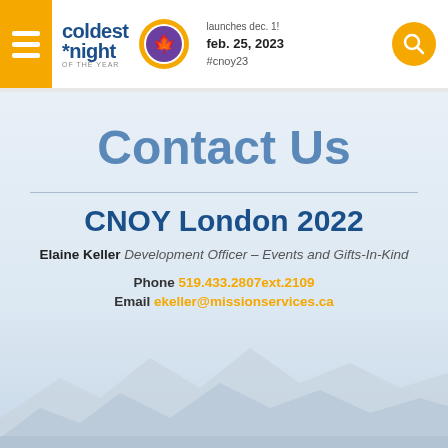coldest night of the year | launches dec. 1! | feb. 25, 2023 | #cnoy23
Contact Us
CNOY London 2022
Elaine Keller Development Officer – Events and Gifts-In-Kind
Phone 519.433.2807ext.2109
Email ekeller@missionservices.ca